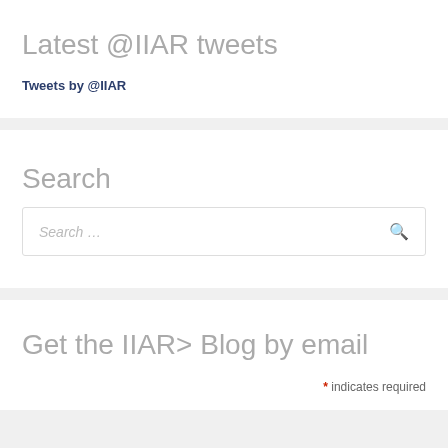Latest @IIAR tweets
Tweets by @IIAR
Search
Search ...
Get the IIAR> Blog by email
* indicates required